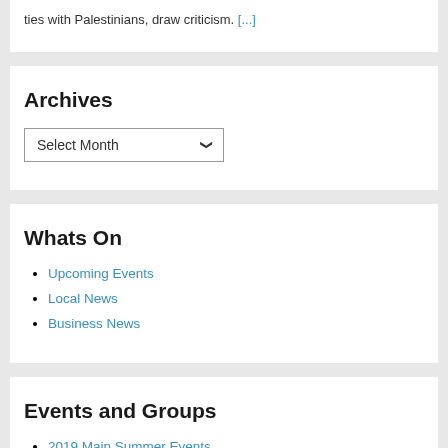ties with Palestinians, draw criticism. [...]
Archives
Select Month
Whats On
Upcoming Events
Local News
Business News
Events and Groups
2019 Main Summer Events
Canal Group and Transhipment Warehouse